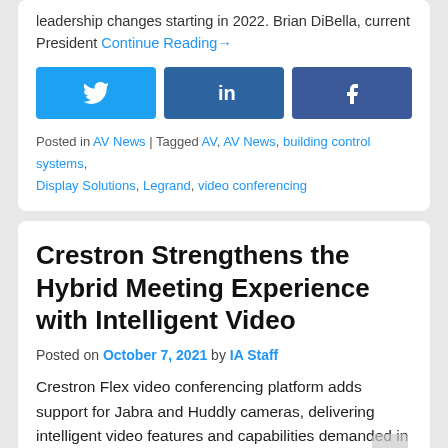leadership changes starting in 2022. Brian DiBella, current President Continue Reading→
[Figure (other): Social share buttons: Twitter, LinkedIn, Facebook]
Posted in AV News | Tagged AV, AV News, building control systems, Display Solutions, Legrand, video conferencing
Crestron Strengthens the Hybrid Meeting Experience with Intelligent Video
Posted on October 7, 2021 by IA Staff
Crestron Flex video conferencing platform adds support for Jabra and Huddly cameras, delivering intelligent video features and capabilities demanded in today's work environment. ROCKLEIGH, N.J.–